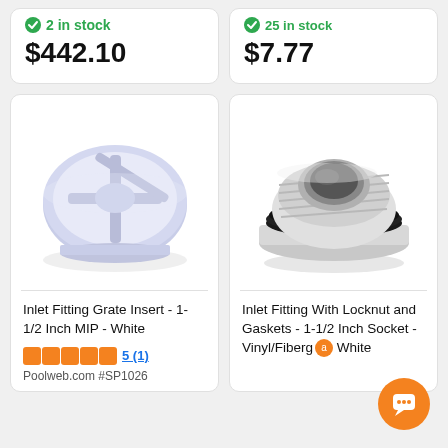2 in stock
$442.10
25 in stock
$7.77
[Figure (photo): Inlet fitting grate insert, circular plastic white piece with cross/grid pattern, top-down view]
Inlet Fitting Grate Insert - 1-1/2 Inch MIP - White
5 (1)
Poolweb.com #SP1026
[Figure (photo): Inlet fitting with locknut and gaskets, white cylindrical threaded fitting with black rubber gasket O-ring]
Inlet Fitting With Locknut and Gaskets - 1-1/2 Inch Socket - Vinyl/Fiberg... White